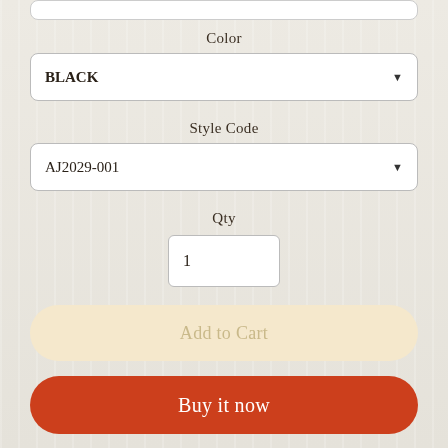Color
BLACK
Style Code
AJ2029-001
Qty
1
Add to Cart
Buy it now